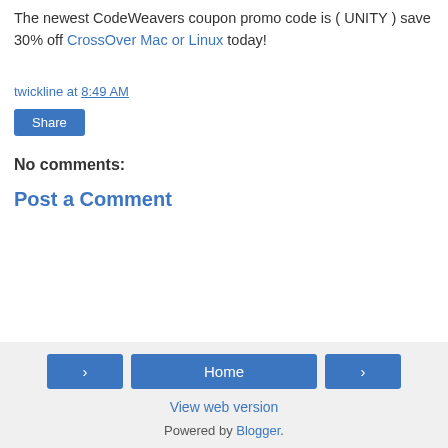The newest CodeWeavers coupon promo code is ( UNITY ) save 30% off CrossOver Mac or Linux today!
twickline at 8:49 AM
Share
No comments:
Post a Comment
< Home > View web version Powered by Blogger.